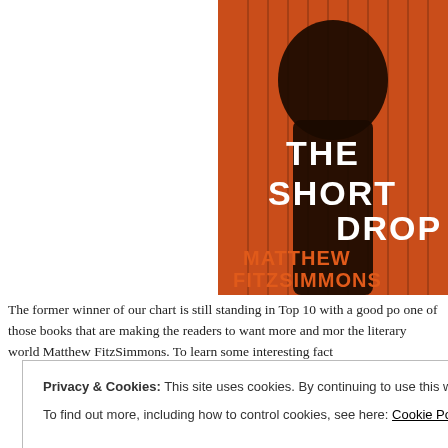[Figure (illustration): Book cover of 'The Short Drop' by Matthew FitzSimmons. Orange and black cover with silhouette of a person's head and vertical stripe pattern. White bold text reads 'THE SHORT DROP' and orange text reads 'MATTHEW FITZSIMMONS'.]
The former winner of our chart is still standing in Top 10 with a good po one of those books that are making the readers to want more and mor the literary world Matthew FitzSimmons. To learn some interesting fact
Privacy & Cookies: This site uses cookies. By continuing to use this website, you agree to their use.
To find out more, including how to control cookies, see here: Cookie Policy
Close and accept